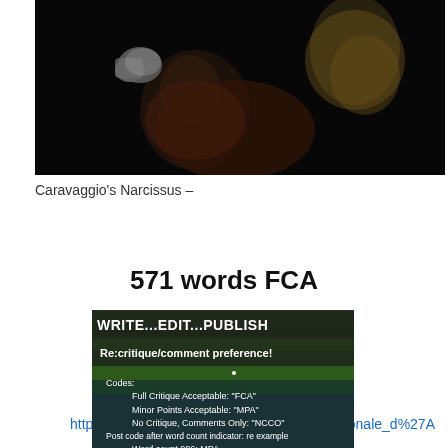[Figure (photo): Dark painted image showing Caravaggio's Narcissus - detail crop showing hands and fabric against dark background]
Caravaggio's Narcissus –
https://en.wikipedia.org/wiki/en:Galleria_Nazionale_d%27A
571 words FCA
[Figure (screenshot): Image with text: WRITE...EDIT...PUBLISH - Re:critique/comment preference! Codes: Full Critique Acceptable: 'FCA', Minor Points Acceptable: 'MPA', No Critique, Comments Only: 'NCCO', Post code after word count indicator: re example Word count 986: MPA.]